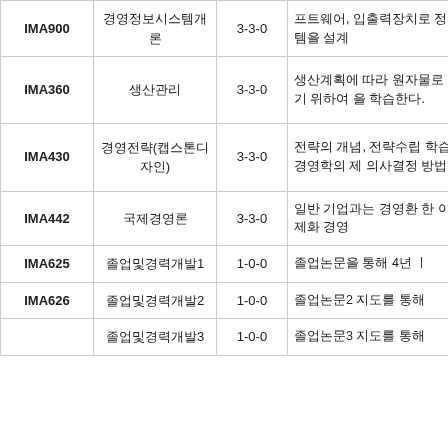| 과목코드 | 과목명 | 학점 | 과목설명 |
| --- | --- | --- | --- |
| IMA900 | 경영정보시스템개론 | 3-3-0 | 프트웨어, 입출력장치로 정보시스템을 설계 |
| IMA360 | 생산관리 | 3-3-0 | 생산계획에 따라 원자물로 변형하기 위하여을 학습한다. |
| IMA430 | 경영전략(캡스톤디자인) | 3-3-0 | 전략의 개념, 전략수립학습한다. 경영학의 제의사결정 방법을 배운 |
| IMA442 | 국제경영론 | 3-3-0 | 일반 기업과는 경영환한 이론과 국제화 경영 |
| IMA625 | 졸업및경력개발1 | 1-0-0 | 졸업논문을 통해 4년 ㅣ |
| IMA626 | 졸업및경력개발2 | 1-0-0 | 졸업논문2 지도를 통해 |
|  | 졸업및경력개발3 | 1-0-0 | 졸업논문3 지도를 통해 |